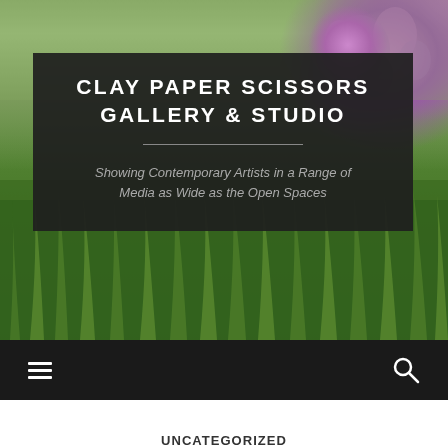[Figure (photo): Outdoor garden scene with green grass and purple wildflowers, serving as hero background image]
CLAY PAPER SCISSORS GALLERY & STUDIO
Showing Contemporary Artists in a Range of Media as Wide as the Open Spaces
[Figure (infographic): Navigation bar with hamburger menu icon on the left and search magnifying glass icon on the right, dark background]
UNCATEGORIZED